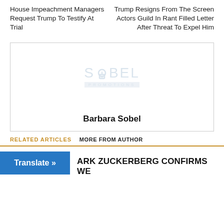House Impeachment Managers Request Trump To Testify At Trial
Trump Resigns From The Screen Actors Guild In Rant Filled Letter After Threat To Expel Him
[Figure (logo): Sobel Promotions watermark logo in light blue/grey tones with a lock icon replacing the O in SOBEL, and PROMOTIONS text below]
Barbara Sobel
RELATED ARTICLES
MORE FROM AUTHOR
Translate »
ARK ZUCKERBERG CONFIRMS WE